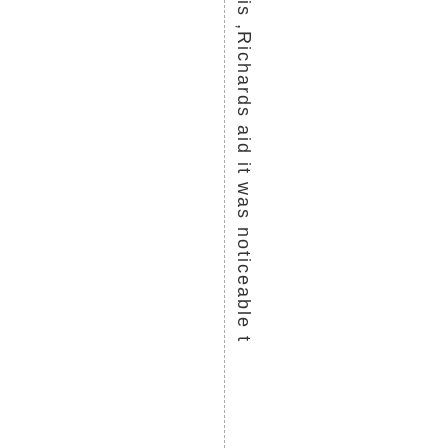is ,Richards aid it was noticeable t